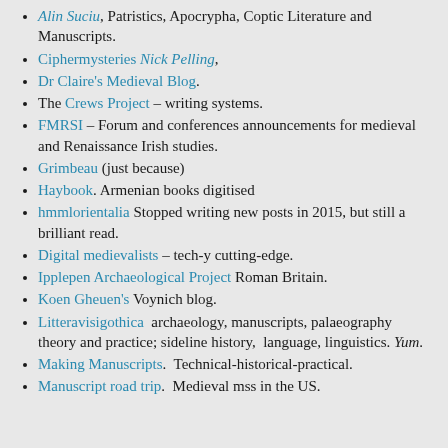Alin Suciu, Patristics, Apocrypha, Coptic Literature and Manuscripts.
Ciphermysteries Nick Pelling,
Dr Claire's Medieval Blog.
The Crews Project – writing systems.
FMRSI – Forum and conferences announcements for medieval and Renaissance Irish studies.
Grimbeau (just because)
Haybook. Armenian books digitised
hmmlorientalia Stopped writing new posts in 2015, but still a brilliant read.
Digital medievalists – tech-y cutting-edge.
Ipplepen Archaeological Project Roman Britain.
Koen Gheuen's Voynich blog.
Litteravisigothica  archaeology, manuscripts, palaeography theory and practice; sideline history,  language, linguistics. Yum.
Making Manuscripts.  Technical-historical-practical.
Manuscript road trip.  Medieval mss in the US.